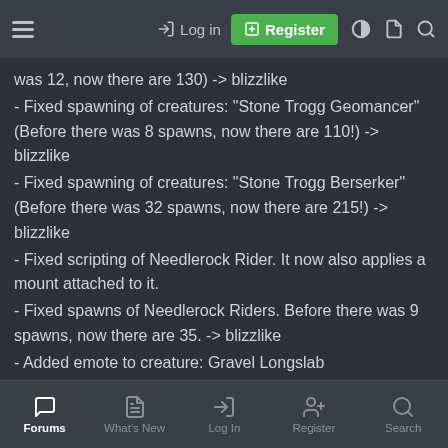Log in | Register
was 12, now there are 130) -> blizzlike
- Fixed spawning of creatures: "Stone Trogg Geomancer" (Before there was 8 spawns, now there are 110!) -> blizzlike
- Fixed spawning of creatures: "Stone Trogg Berserker" (Before there was 32 spawns, now there are 215!) -> blizzlike
- Fixed scripting of Needlerock Rider. It now also applies a mount attached to it.
- Fixed spawns of Needlerock Riders. Before there was 9 spawns, now there are 35. -> blizzlike
- Added emote to creature: Gravel Longslab
- Added emote to creature: Rocky Cliffedge
- Scripted creature: Stone Trogg Berserker
- Scripted creature: Stone Trogg Geomancer
- Improved quest: "Battlefront Triage"
Forums | What's New | Log In | Register | Search